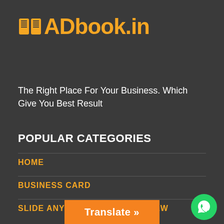[Figure (logo): ADbook.in logo with open book icon in orange/yellow and text in bold orange]
The Right Place For Your Business. Which Give You Best Result
POPULAR CATEGORIES
HOME
BUSINESS CARD
SLIDE ANYTHING POPUP PREVIEW
Translate »